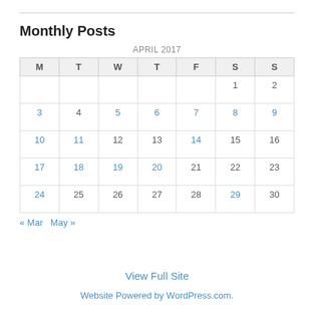Monthly Posts
| M | T | W | T | F | S | S |
| --- | --- | --- | --- | --- | --- | --- |
|  |  |  |  |  | 1 | 2 |
| 3 | 4 | 5 | 6 | 7 | 8 | 9 |
| 10 | 11 | 12 | 13 | 14 | 15 | 16 |
| 17 | 18 | 19 | 20 | 21 | 22 | 23 |
| 24 | 25 | 26 | 27 | 28 | 29 | 30 |
« Mar   May »
View Full Site
Website Powered by WordPress.com.